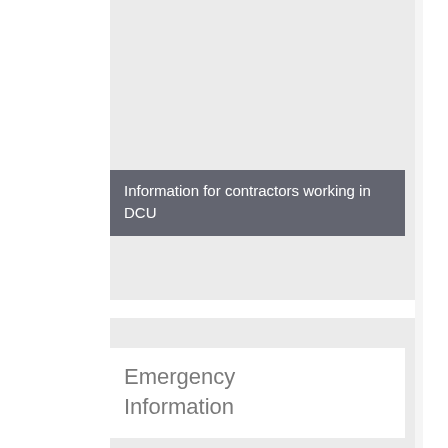[Figure (other): Gray background block at top of page]
Information for contractors working in DCU
Emergency Information